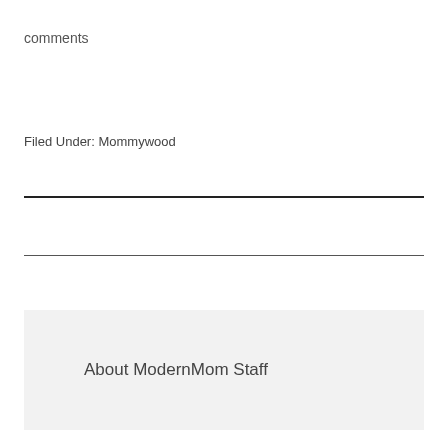comments
Filed Under: Mommywood
About ModernMom Staff